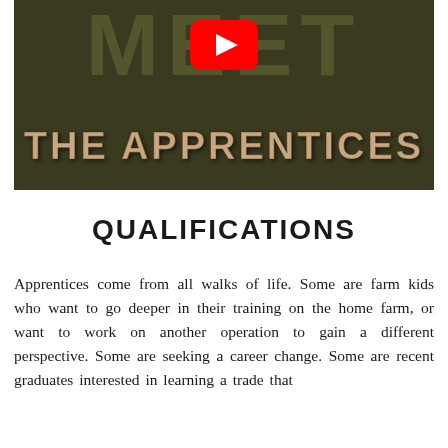[Figure (screenshot): YouTube video thumbnail showing 'MEET THE APPRENTICES' text on a dark olive/brown background with a YouTube play button in the center. The word 'MEET' appears at the top in large dark letters and 'THE APPRENTICES' appears across the bottom in large tan/brown letters.]
QUALIFICATIONS
Apprentices come from all walks of life. Some are farm kids who want to go deeper in their training on the home farm, or want to work on another operation to gain a different perspective. Some are seeking a career change. Some are recent graduates interested in learning a trade that